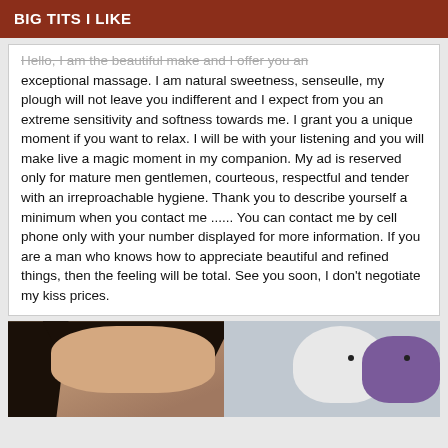BIG TITS I LIKE
Hello, I am the beautiful make and I offer you an exceptional massage.  I am natural sweetness, senseulle, my plough will not leave you indifferent and I expect from you an extreme sensitivity and softness towards me.  I grant you a unique moment if you want to relax.  I will be with your listening and you will make live a magic moment in my companion. My ad is reserved only for mature men gentlemen, courteous, respectful and tender with an irreproachable hygiene.  Thank you to describe yourself a minimum when you contact me ...... You can contact me by cell phone only with your number displayed for more information.  If you are a man who knows how to appreciate beautiful and refined things, then the feeling will be total.  See you soon, I don't negotiate my kiss prices.
[Figure (photo): Photo of a dark-haired woman with makeup, with white and purple stuffed animal toys visible in the background]